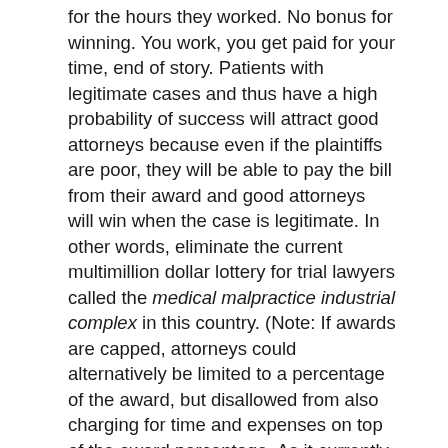for the hours they worked. No bonus for winning. You work, you get paid for your time, end of story. Patients with legitimate cases and thus have a high probability of success will attract good attorneys because even if the plaintiffs are poor, they will be able to pay the bill from their award and good attorneys will win when the case is legitimate. In other words, eliminate the current multimillion dollar lottery for trial lawyers called the medical malpractice industrial complex in this country. (Note: If awards are capped, attorneys could alternatively be limited to a percentage of the award, but disallowed from also charging for time and expenses on top of the award percentage. As it currently stands where medical malpractice tort reform has not been enacted, attorneys are generally allowed to charge for their time and expenses plus take a percentage, typically one-third, of the award. This sometimes results in the plaintiff receiving little or nothing, and in some cases, finding themselves in debt after the award).